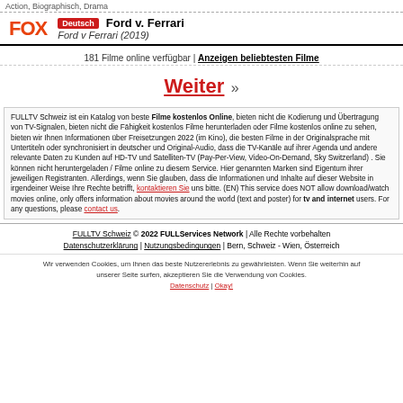Action, Biographisch, Drama
Deutsch  Ford v. Ferrari
Ford v Ferrari (2019)
181 Filme online verfügbar | Anzeigen beliebtesten Filme
Weiter »
FULLTV Schweiz ist ein Katalog von beste Filme kostenlos Online, bieten nicht die Kodierung und Übertragung von TV-Signalen, bieten nicht die Fähigkeit kostenlos Filme herunterladen oder Filme kostenlos online zu sehen, bieten wir Ihnen Informationen über Freisetzungen 2022 (im Kino), die besten Filme in der Originalsprache mit Untertiteln oder synchronisiert in deutscher und Original-Audio, dass die TV-Kanäle auf ihrer Agenda und andere relevante Daten zu Kunden auf HD-TV und Satelliten-TV (Pay-Per-View, Video-On-Demand, Sky Switzerland) . Sie können nicht heruntergeladen / Filme online zu diesem Service. Hier genannten Marken sind Eigentum ihrer jeweiligen Registranten. Allerdings, wenn Sie glauben, dass die Informationen und Inhalte auf dieser Website in irgendeiner Weise Ihre Rechte betrifft, kontaktieren Sie uns bitte. (EN) This service does NOT allow download/watch movies online, only offers information about movies around the world (text and poster) for tv and internet users. For any questions, please contact us.
FULLTV Schweiz © 2022 FULLServices Network | Alle Rechte vorbehalten
Datenschutzerklärung | Nutzungsbedingungen | Bern, Schweiz - Wien, Österreich
Wir verwenden Cookies, um Ihnen das beste Nutzererlebnis zu gewährleisten. Wenn Sie weiterhin auf unserer Seite surfen, akzeptieren Sie die Verwendung von Cookies.
Datenschutz | Okay!